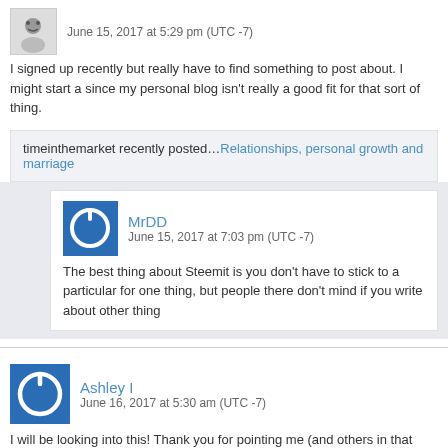[Figure (illustration): Avatar icon showing a face sketch]
June 15, 2017 at 5:29 pm (UTC -7)
I signed up recently but really have to find something to post about. I might start a since my personal blog isn't really a good fit for that sort of thing.
timeinthemarket recently posted…Relationships, personal growth and marriage
[Figure (logo): Blue power/user icon avatar for MrDD]
MrDD
June 15, 2017 at 7:03 pm (UTC -7)
The best thing about Steemit is you don't have to stick to a particular for one thing, but people there don't mind if you write about other thing
[Figure (logo): Blue power/user icon avatar for Ashley I]
Ashley I
June 16, 2017 at 5:30 am (UTC -7)
I will be looking into this! Thank you for pointing me (and others in that direction.
[Figure (logo): Blue power/user icon avatar for MrDD (bottom)]
MrDD